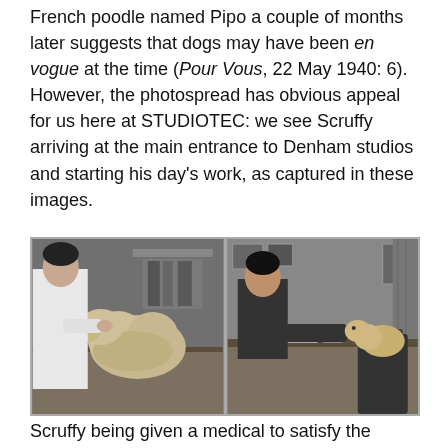French poodle named Pipo a couple of months later suggests that dogs may have been en vogue at the time (Pour Vous, 22 May 1940: 6). However, the photospread has obvious appeal for us here at STUDIOTEC: we see Scruffy arriving at the main entrance to Denham studios and starting his day's work, as captured in these images.
[Figure (photo): Two black-and-white photographs side by side. Left: a person in a white coat examining a fluffy terrier dog on a desk or table. Right: a man in dark clothing leaning over a desk with a small dog nearby, in an office setting.]
Scruffy being given a medical to satisfy the insurers before being allowed to start the day's shooting, and in